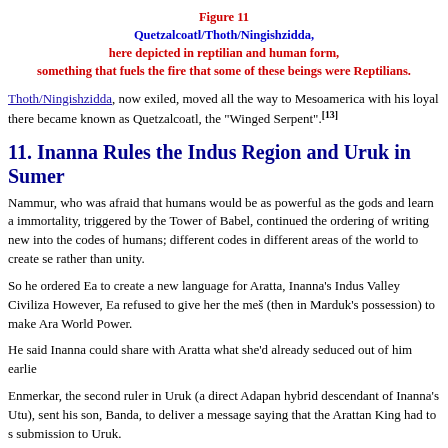Figure 11
Quetzalcoatl/Thoth/Ningishzidda,
here depicted in reptilian and human form,
something that fuels the fire that some of these beings were Reptilians.
Thoth/Ningishzidda, now exiled, moved all the way to Mesoamerica with his loyal there became known as Quetzalcoatl, the "Winged Serpent".[13]
11. Inanna Rules the Indus Region and Uruk in Sumer
Nammur, who was afraid that humans would be as powerful as the gods and learn a immortality, triggered by the Tower of Babel, continued the ordering of writing new into the codes of humans; different codes in different areas of the world to create se rather than unity.
So he ordered Ea to create a new language for Aratta, Inanna's Indus Valley Civiliza However, Ea refused to give her the meš (then in Marduk's possession) to make Ara World Power.
He said Inanna could share with Aratta what she'd already seduced out of him earlie
Enmerkar, the second ruler in Uruk (a direct Adapan hybrid descendant of Inanna's Utu), sent his son, Banda, to deliver a message saying that the Arattan King had to s submission to Uruk.